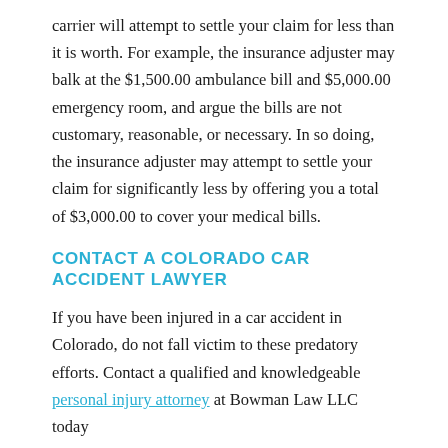carrier will attempt to settle your claim for less than it is worth. For example, the insurance adjuster may balk at the $1,500.00 ambulance bill and $5,000.00 emergency room, and argue the bills are not customary, reasonable, or necessary. In so doing, the insurance adjuster may attempt to settle your claim for significantly less by offering you a total of $3,000.00 to cover your medical bills.
CONTACT A COLORADO CAR ACCIDENT LAWYER
If you have been injured in a car accident in Colorado, do not fall victim to these predatory efforts. Contact a qualified and knowledgeable personal injury attorney at Bowman Law LLC today